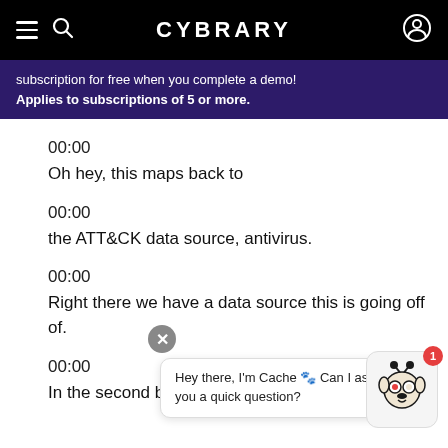CYBRARY
subscription for free when you complete a demo! Applies to subscriptions of 5 or more.
00:00
Oh hey, this maps back to
00:00
the ATT&CK data source, antivirus.
00:00
Right there we have a data source this is going off of.
00:00
In the second bullet point we're leveraging
Hey there, I'm Cache 🐾 Can I ask you a quick question?